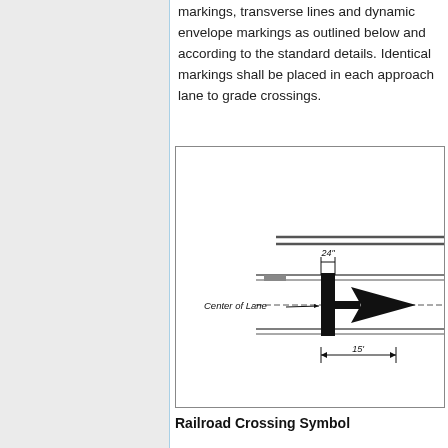markings, transverse lines and dynamic envelope markings as outlined below and according to the standard details. Identical markings shall be placed in each approach lane to grade crossings.
[Figure (engineering-diagram): Engineering diagram showing a railroad crossing symbol layout with lane markings. Shows 'Center of Lane' label with arrow, a vertical black bar (24 inches wide), horizontal road lane lines, a large arrow symbol, and a dimension marking of 15 feet.]
Railroad Crossing Symbol